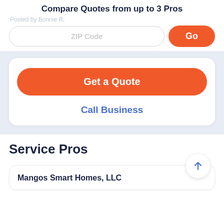Compare Quotes from up to 3 Pros
Posted by Bonnie R.
ZIP Code
Go
Get a Quote
Call Business
Service Pros
Mangos Smart Homes, LLC